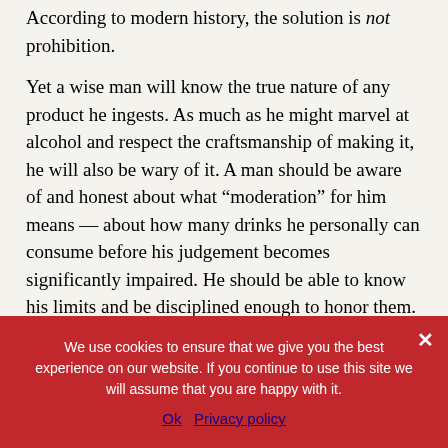According to modern history, the solution is not prohibition.
Yet a wise man will know the true nature of any product he ingests. As much as he might marvel at alcohol and respect the craftsmanship of making it, he will also be wary of it. A man should be aware of and honest about what “moderation” for him means — about how many drinks he personally can consume before his judgement becomes significantly impaired. He should be able to know his limits and be disciplined enough to honor them. He will know the hollowness of insisting that being hurt by alcohol can’t
We use cookies to ensure that we give you the best experience on our website. If you continue to use this site we will assume that you are happy with it.
Ok   Privacy policy